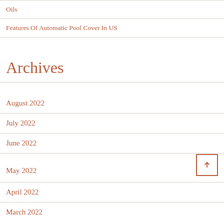Oils
Features Of Automatic Pool Cover In US
Archives
August 2022
July 2022
June 2022
May 2022
April 2022
March 2022